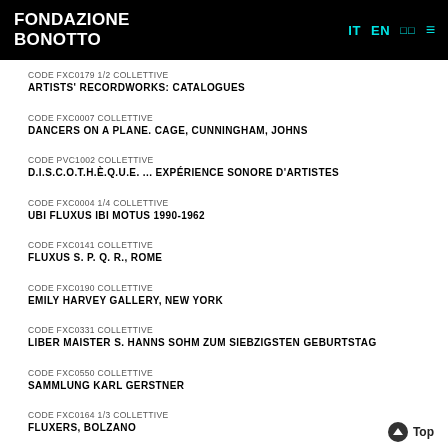FONDAZIONE BONOTTO
CODE FXC0179 1/2 COLLETTIVE
ARTISTS' RECORDWORKS: CATALOGUES
CODE FXC0007 COLLETTIVE
DANCERS ON A PLANE. CAGE, CUNNINGHAM, JOHNS
CODE PVC1002 COLLETTIVE
D.I.S.C.O.T.H.È.Q.U.E. ... EXPÉRIENCE SONORE D'ARTISTES
CODE FXC0004 1/4 COLLETTIVE
UBI FLUXUS IBI MOTUS 1990-1962
CODE FXC0141 COLLETTIVE
FLUXUS S. P. Q. R., ROME
CODE FXC0190 COLLETTIVE
EMILY HARVEY GALLERY, NEW YORK
CODE FXC0331 COLLETTIVE
LIBER MAISTER S. HANNS SOHM ZUM SIEBZIGSTEN GEBURTSTAG
CODE FXC0550 COLLETTIVE
SAMMLUNG KARL GERSTNER
CODE FXC0164 1/3 COLLETTIVE
FLUXERS, BOLZANO